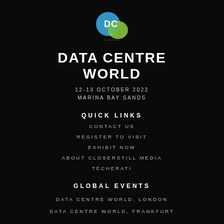[Figure (logo): Data Centre World logo - overlapping blue and green circles with DC letters]
DATA CENTRE WORLD
12-13 OCTOBER 2022
MARINA BAY SANDS
QUICK LINKS
CONTACT US
REGISTER TO VISIT
EXHIBIT NOW
ABOUT CLOSERSTILL MEDIA
TECHERATI
GLOBAL EVENTS
DATA CENTRE WORLD, LONDON
DATA CENTRE WORLD, FRANKFURT